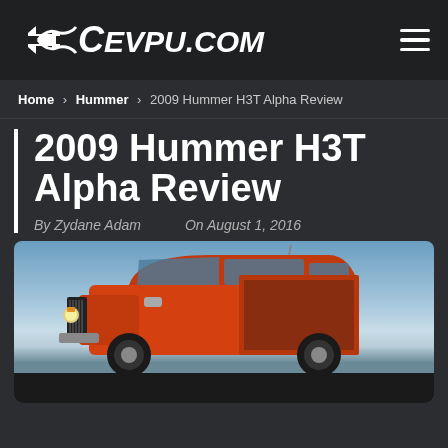CEVPU.COM
Home › Hummer › 2009 Hummer H3T Alpha Review
2009 Hummer H3T Alpha Review
By Zydane Adam   On August 1, 2016
[Figure (photo): Front view of a red/orange 2009 Hummer H3T Alpha truck against a blue sky background]